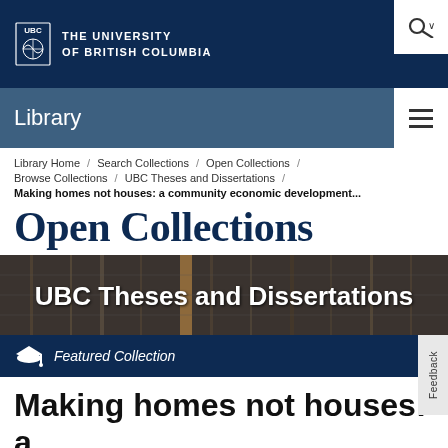THE UNIVERSITY OF BRITISH COLUMBIA
Library
Library Home / Search Collections / Open Collections / Browse Collections / UBC Theses and Dissertations /
Making homes not houses: a community economic development...
Open Collections
[Figure (photo): Background photo of library shelving/filing system with overlay text 'UBC Theses and Dissertations']
Featured Collection
Making homes not houses: a community economic